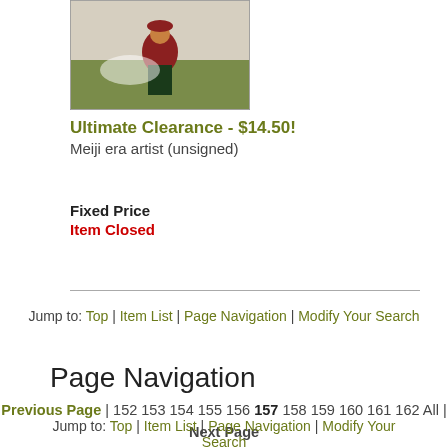[Figure (illustration): Small thumbnail image of a Japanese woodblock print showing a figure in traditional clothing in a nature scene]
Ultimate Clearance - $14.50!
Meiji era artist (unsigned)
Fixed Price
Item Closed
Jump to: Top | Item List | Page Navigation | Modify Your Search
Page Navigation
Previous Page | 152 153 154 155 156 157 158 159 160 161 162 All | Next Page
Jump to: Top | Item List | Page Navigation | Modify Your Search